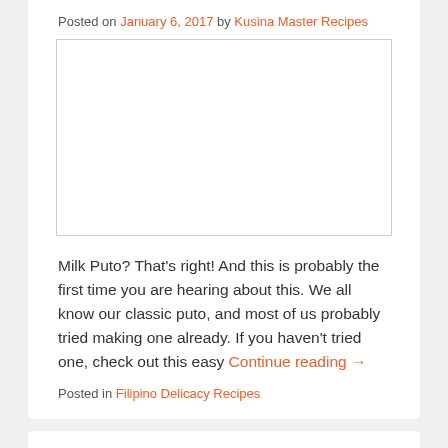Posted on January 6, 2017 by Kusina Master Recipes
[Figure (photo): Blank white image placeholder for Milk Puto recipe]
Milk Puto? That's right! And this is probably the first time you are hearing about this. We all know our classic puto, and most of us probably tried making one already. If you haven't tried one, check out this easy Continue reading →
Posted in Filipino Delicacy Recipes
Nilupak Na Balinghoy Recipe